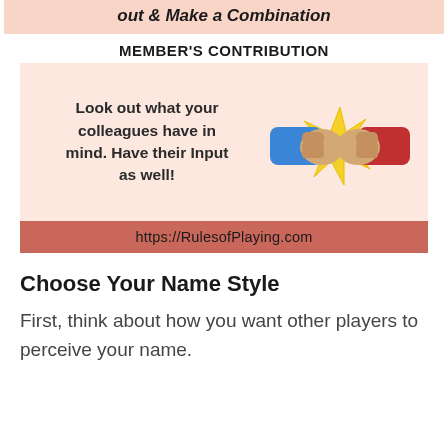out & Make a Combination
MEMBER'S CONTRIBUTION
[Figure (illustration): Two fists bumping together with a yellow starburst impact effect, one fist wearing a blue sleeve and one wearing a red sleeve]
Look out what your colleagues have in mind. Have their Input as well!
https://RulesofPlaying.com
Choose Your Name Style
First, think about how you want other players to perceive your name.